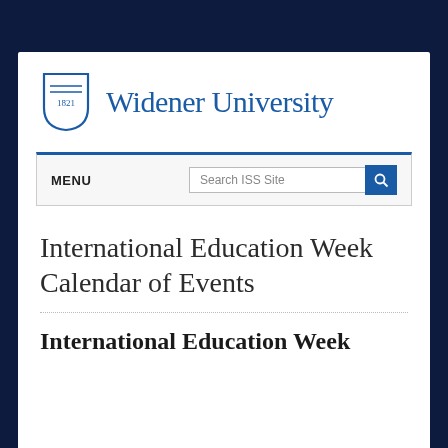[Figure (logo): Widener University shield logo with year 1821 and university name in blue]
MENU   Search ISS Site
International Education Week Calendar of Events
International Education Week